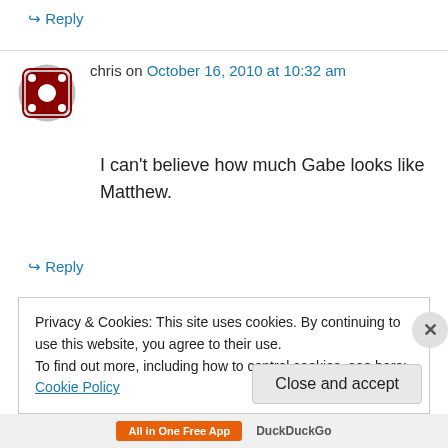↪ Reply
chris on October 16, 2010 at 10:32 am
I can't believe how much Gabe looks like Matthew.
↪ Reply
[Figure (other): Advertisement banner showing text 'same page is easy. And free.' with a dash icon, on a light grey background]
REPORT THIS AD
Privacy & Cookies: This site uses cookies. By continuing to use this website, you agree to their use.
To find out more, including how to control cookies, see here: Cookie Policy
Close and accept